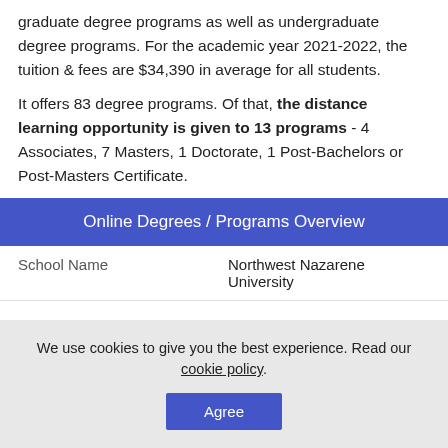graduate degree programs as well as undergraduate degree programs. For the academic year 2021-2022, the tuition & fees are $34,390 in average for all students.
It offers 83 degree programs. Of that, the distance learning opportunity is given to 13 programs - 4 Associates, 7 Masters, 1 Doctorate, 1 Post-Bachelors or Post-Masters Certificate.
Online Degrees / Programs Overview
| School Name | Northwest Nazarene University |
| --- | --- |
We use cookies to give you the best experience. Read our cookie policy.